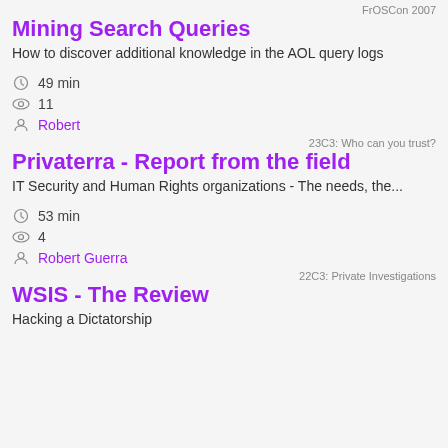FrOSCon 2007
Mining Search Queries
How to discover additional knowledge in the AOL query logs
49 min
11
Robert
23C3: Who can you trust?
Privaterra - Report from the field
IT Security and Human Rights organizations - The needs, the...
53 min
4
Robert Guerra
22C3: Private Investigations
WSIS - The Review
Hacking a Dictatorship